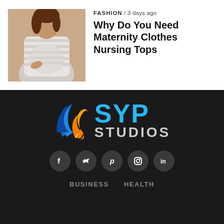[Figure (photo): Pregnant woman in striped top, holding her belly, standing against a beige background]
FASHION / 3 days ago
Why Do You Need Maternity Clothes Nursing Tops
[Figure (logo): SYP Studios logo with stylized wing/flame icon in blue, orange, gold gradient and text 'SYP STUDIOS']
[Figure (infographic): Social media icons row: Facebook, Twitter, Pinterest, Instagram, LinkedIn — white icons on dark circular backgrounds]
BUSINESS   HEALTH
© 2020 Copyright- SYP STUDIOS. All Right Reserved